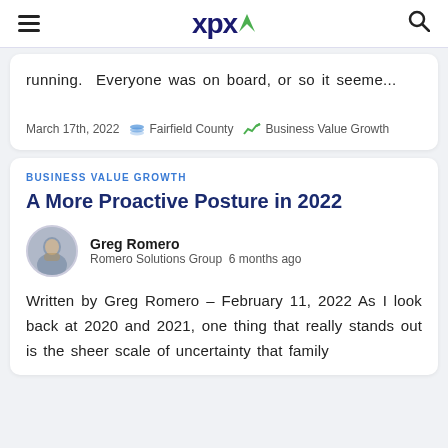XPX
running.   Everyone was on board, or so it seeme...
March 17th, 2022  Fairfield County  Business Value Growth
BUSINESS VALUE GROWTH
A More Proactive Posture in 2022
Greg Romero
Romero Solutions Group  6 months ago
Written by Greg Romero – February 11, 2022 As I look back at 2020 and 2021, one thing that really stands out is the sheer scale of uncertainty that family